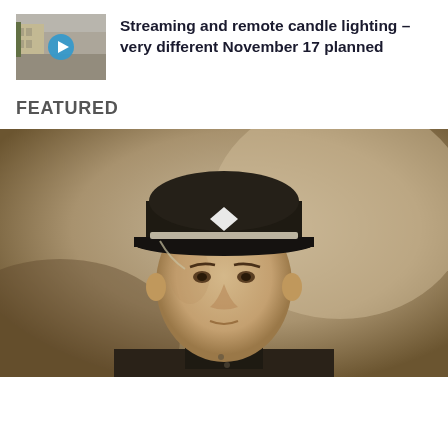[Figure (photo): Video thumbnail: street scene with a building, play button overlay]
Streaming and remote candle lighting – very different November 17 planned
FEATURED
[Figure (photo): Sepia vintage portrait photograph of a young man in military uniform wearing a peaked cap with a white diamond insignia]